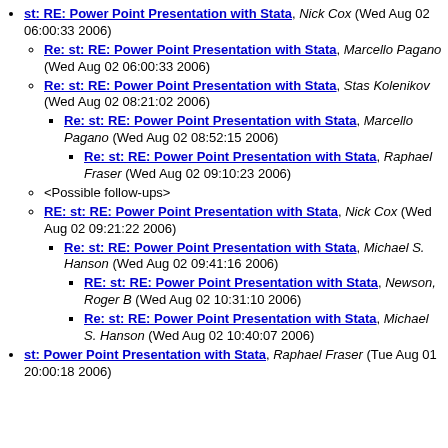st: RE: Power Point Presentation with Stata, Nick Cox (Wed Aug 02 06:00:33 2006)
Re: st: RE: Power Point Presentation with Stata, Marcello Pagano (Wed Aug 02 06:00:33 2006)
Re: st: RE: Power Point Presentation with Stata, Stas Kolenikov (Wed Aug 02 08:21:02 2006)
Re: st: RE: Power Point Presentation with Stata, Marcello Pagano (Wed Aug 02 08:52:15 2006)
Re: st: RE: Power Point Presentation with Stata, Raphael Fraser (Wed Aug 02 09:10:23 2006)
<Possible follow-ups>
RE: st: RE: Power Point Presentation with Stata, Nick Cox (Wed Aug 02 09:21:22 2006)
Re: st: RE: Power Point Presentation with Stata, Michael S. Hanson (Wed Aug 02 09:41:16 2006)
RE: st: RE: Power Point Presentation with Stata, Newson, Roger B (Wed Aug 02 10:31:10 2006)
Re: st: RE: Power Point Presentation with Stata, Michael S. Hanson (Wed Aug 02 10:40:07 2006)
st: Power Point Presentation with Stata, Raphael Fraser (Tue Aug 01 20:00:18 2006)